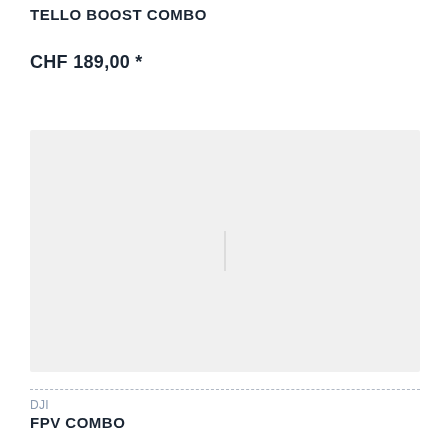TELLO BOOST COMBO
CHF 189,00 *
[Figure (photo): Product image placeholder — light gray rectangle with faint vertical line]
DJI
FPV COMBO